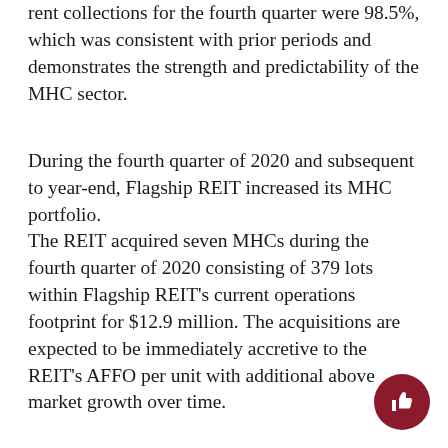rent collections for the fourth quarter were 98.5%, which was consistent with prior periods and demonstrates the strength and predictability of the MHC sector.
During the fourth quarter of 2020 and subsequent to year-end, Flagship REIT increased its MHC portfolio.
The REIT acquired seven MHCs during the fourth quarter of 2020 consisting of 379 lots within Flagship REIT's current operations footprint for $12.9 million. The acquisitions are expected to be immediately accretive to the REIT's AFFO per unit with additional above market growth over time.
Subsequent to year-end, Flagship REIT acquired an MHC with 77 lots in the Louisville Kentucky market for approximately $3.0 million and an MHC with 74 lots in the Bowling Green, Kentucky market also for approximately $3.0 million. The acquisitions are